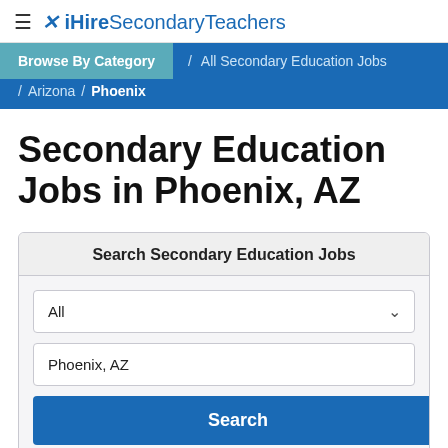≡ iHireSecondaryTeachers
Browse By Category / All Secondary Education Jobs / Arizona / Phoenix
Secondary Education Jobs in Phoenix, AZ
Search Secondary Education Jobs | All | Phoenix, AZ | Search